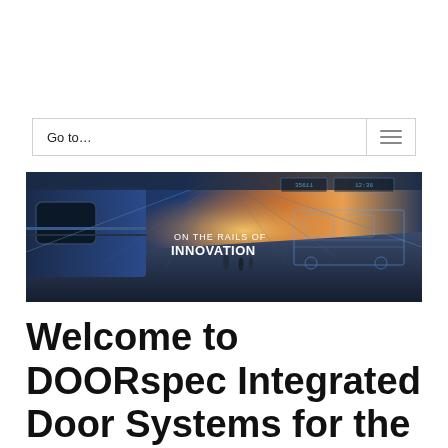Go to…
[Figure (photo): Wide banner photo of a train station with a modern blue train on the left and a bright glowing vanishing-point perspective of the station hall. White overlay text reads 'ON THE RAILS OF INNOVATION'. Right side shows a digital blueprint overlay of a train.]
Welcome to DOORspec Integrated Door Systems for the Transit Industry